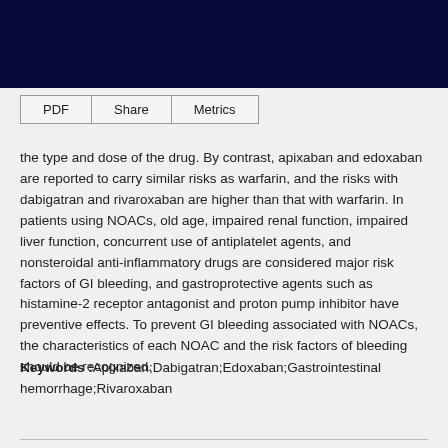| PDF | Share | Metrics |
| --- | --- | --- |
the type and dose of the drug. By contrast, apixaban and edoxaban are reported to carry similar risks as warfarin, and the risks with dabigatran and rivaroxaban are higher than that with warfarin. In patients using NOACs, old age, impaired renal function, impaired liver function, concurrent use of antiplatelet agents, and nonsteroidal anti-inflammatory drugs are considered major risk factors of GI bleeding, and gastroprotective agents such as histamine-2 receptor antagonist and proton pump inhibitor have preventive effects. To prevent GI bleeding associated with NOACs, the characteristics of each NOAC and the risk factors of bleeding should be recognized.
Keywords :Apixaban;Dabigatran;Edoxaban;Gastrointestinal hemorrhage;Rivaroxaban